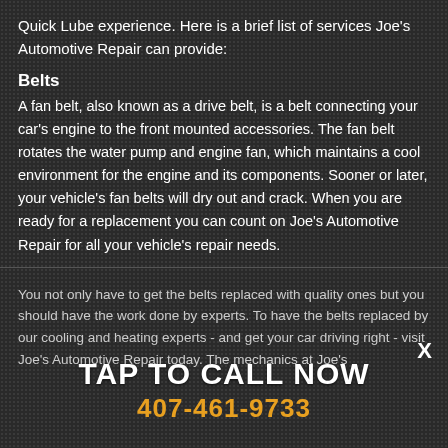Quick Lube experience. Here is a brief list of services Joe's Automotive Repair can provide:
Belts
A fan belt, also known as a drive belt, is a belt connecting your car's engine to the front mounted accessories. The fan belt rotates the water pump and engine fan, which maintains a cool environment for the engine and its components. Sooner or later, your vehicle's fan belts will dry out and crack. When you are ready for a replacement you can count on Joe's Automotive Repair for all your vehicle's repair needs.
You not only have to get the belts replaced with quality ones but you should have the work done by experts. To have the belts replaced by our cooling and heating experts - and get your car driving right - visit Joe's Automotive Repair today. The mechanics at Joe's
TAP TO CALL NOW
407-461-9733